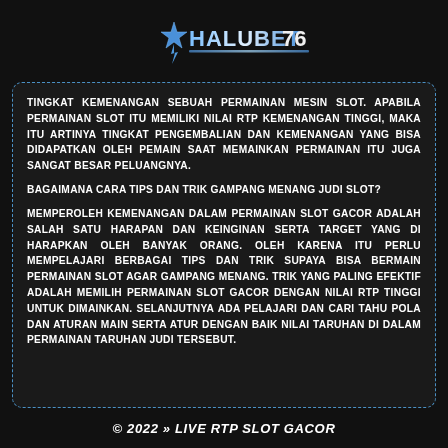[Figure (logo): HALUBET76 logo with star and lightning bolt design, text in blue and white metallic style]
TINGKAT KEMENANGAN SEBUAH PERMAINAN MESIN SLOT. APABILA PERMAINAN SLOT ITU MEMILIKI NILAI RTP KEMENANGAN TINGGI, MAKA ITU ARTINYA TINGKAT PENGEMBALIAN DAN KEMENANGAN YANG BISA DIDAPATKAN OLEH PEMAIN SAAT MEMAINKAN PERMAINAN ITU JUGA SANGAT BESAR PELUANGNYA.
BAGAIMANA CARA TIPS DAN TRIK GAMPANG MENANG JUDI SLOT?
MEMPEROLEH KEMENANGAN DALAM PERMAINAN SLOT GACOR ADALAH SALAH SATU HARAPAN DAN KEINGINAN SERTA TARGET YANG DI HARAPKAN OLEH BANYAK ORANG. OLEH KARENA ITU PERLU MEMPELAJARI BERBAGAI TIPS DAN TRIK SUPAYA BISA BERMAIN PERMAINAN SLOT AGAR GAMPANG MENANG. TRIK YANG PALING EFEKTIF ADALAH MEMILIH PERMAINAN SLOT GACOR DENGAN NILAI RTP TINGGI UNTUK DIMAINKAN. SELANJUTNYA ADA PELAJARI DAN CARI TAHU POLA DAN ATURAN MAIN SERTA ATUR DENGAN BAIK NILAI TARUHAN DI DALAM PERMAINAN TARUHAN JUDI TERSEBUT.
© 2022 » LIVE RTP SLOT GACOR